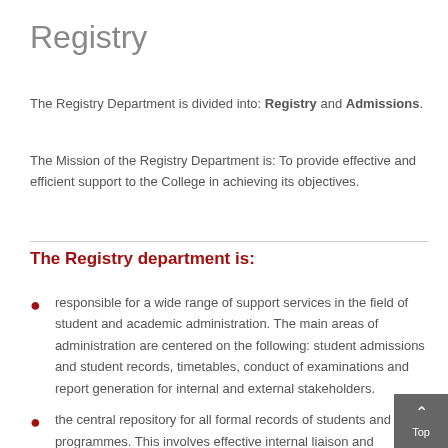Registry
The Registry Department is divided into: Registry and Admissions.
The Mission of the Registry Department is: To provide effective and efficient support to the College in achieving its objectives.
The Registry department is:
responsible for a wide range of support services in the field of student and academic administration. The main areas of administration are centered on the following: student admissions and student records, timetables, conduct of examinations and report generation for internal and external stakeholders.
the central repository for all formal records of students and programmes. This involves effective internal liaison and